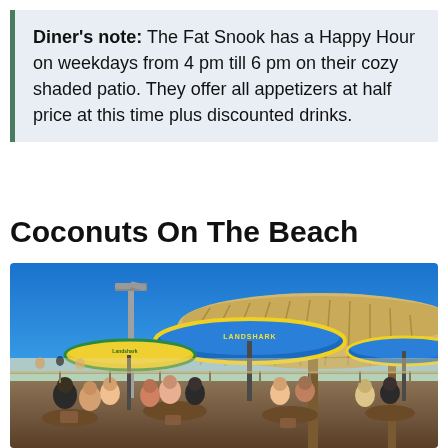Diner's note: The Fat Snook has a Happy Hour on weekdays from 4 pm till 6 pm on their cozy shaded patio. They offer all appetizers at half price at this time plus discounted drinks.
Coconuts On The Beach
[Figure (photo): Outdoor beach restaurant patio with people dining under blue and yellow Landshark branded umbrellas and a large thatched tiki roof. Blue sky and beach visible in the background.]